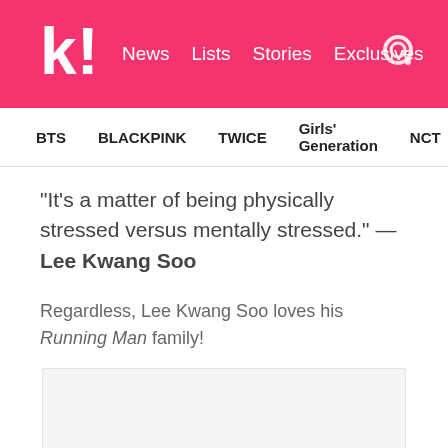koreaboo — News | Lists | Stories | Exclusives
BTS | BLACKPINK | TWICE | Girls' Generation | NCT | aespa
“It’s a matter of being physically stressed versus mentally stressed.” — Lee Kwang Soo
Regardless, Lee Kwang Soo loves his Running Man family!
[Figure (photo): Image placeholder / embedded photo area]